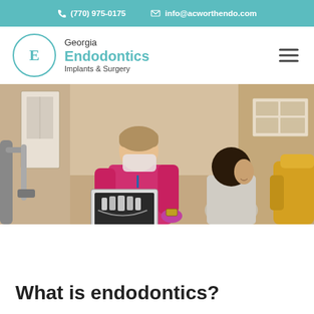(770) 975-0175   info@acworthendo.com
Georgia Endodontics Implants & Surgery
[Figure (photo): Dental professional in pink scrubs and gloves showing an X-ray to a seated patient in a dental office.]
What is endodontics?